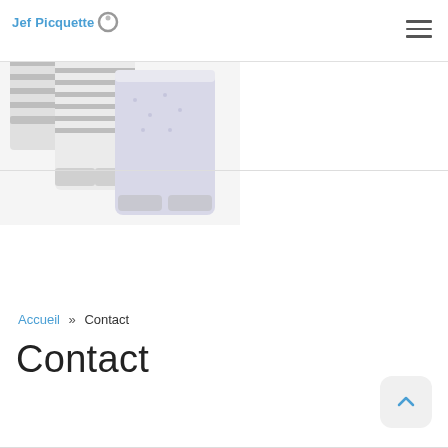Jef Picquette
[Figure (photo): Baby clothing items — striped pants and tops in gray and white/lavender, overlapping product display]
Accueil » Contact
Contact